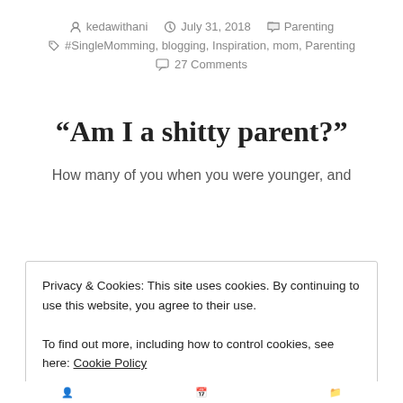kedawithani  July 31, 2018  Parenting  #SingleMomming, blogging, Inspiration, mom, Parenting  27 Comments
“Am I a shitty parent?”
How many of you when you were younger, and
Privacy & Cookies: This site uses cookies. By continuing to use this website, you agree to their use.
To find out more, including how to control cookies, see here: Cookie Policy
Close and accept